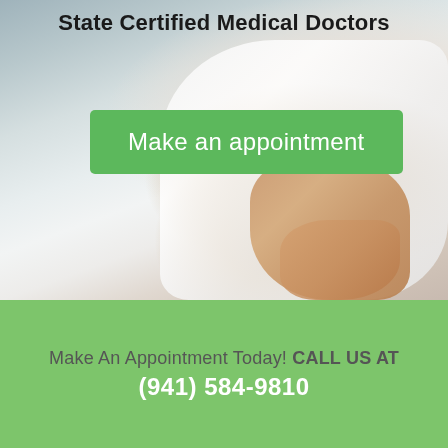[Figure (photo): Blurred background photo of a doctor in a white coat, showing hand and stethoscope]
State Certified Medical Doctors
Make an appointment
Make An Appointment Today! CALL US AT (941) 584-9810